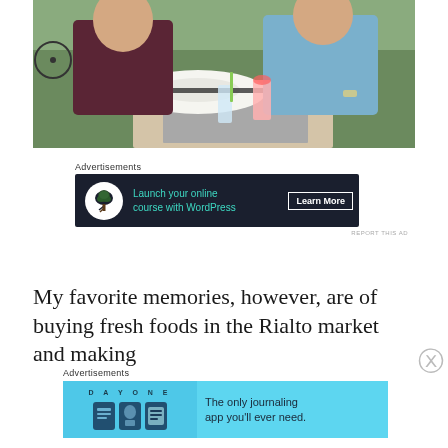[Figure (photo): Two people sitting at an outdoor restaurant table with drinks including an Aperol Spritz cocktail and water; a white wide-brimmed hat with black band is visible on the table; bicycle in background.]
Advertisements
[Figure (infographic): Dark advertisement banner: 'Launch your online course with WordPress' with a bonsai tree logo circle and 'Learn More' button in white border.]
REPORT THIS AD
My favorite memories, however, are of buying fresh foods in the Rialto market and making
Advertisements
[Figure (infographic): Light blue advertisement banner for DAY ONE journaling app: 'The only journaling app you'll ever need.' with app icon illustrations.]